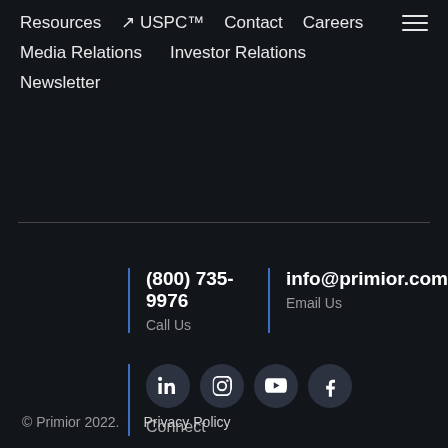Resources  USPC™  Contact  Careers
Media Relations  Investor Relations
Newsletter
(800) 735-9976
Call Us
info@primior.com
Email Us
[Figure (other): Social media icons: LinkedIn, Instagram, YouTube, Facebook. Label: Connect]
© Primior 2022.   Privacy Policy